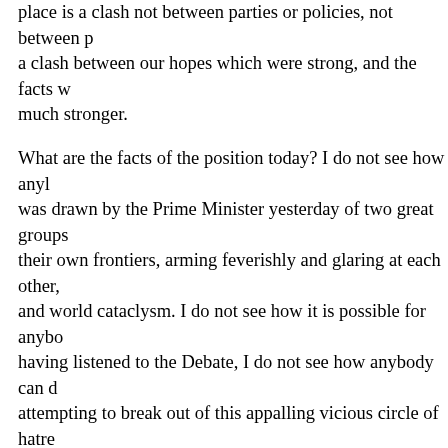place is a clash not between parties or policies, not between p a clash between our hopes which were strong, and the facts w much stronger.
What are the facts of the position today? I do not see how any was drawn by the Prime Minister yesterday of two great groups their own frontiers, arming feverishly and glaring at each other, and world cataclysm. I do not see how it is possible for anyboo having listened to the Debate, I do not see how anybody can d attempting to break out of this appalling vicious circle of hatre course he has adopted is full of danger and of all kinds of poss other course which has been put forward is an absolutely safe seems to me that every criticism which has been directed agai completely sterile. There has been no constructive suggestion towards a peaceful settlement of Europe.
The right hon. Gentleman the Member for Epping (Mr. Churchi late Foreign Secretary and pointed out the great work he had d the past two years. I do not think anybody, including the right h the ex-Foreign Secretary, would claim that his policy, which ha